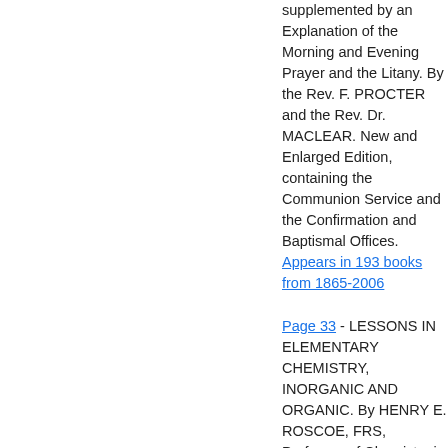supplemented by an Explanation of the Morning and Evening Prayer and the Litany. By the Rev. F. PROCTER and the Rev. Dr. MACLEAR. New and Enlarged Edition, containing the Communion Service and the Confirmation and Baptismal Offices. Appears in 193 books from 1865-2006
Page 33 - LESSONS IN ELEMENTARY CHEMISTRY, INORGANIC AND ORGANIC. By HENRY E. ROSCOE, FRS, Professor of Chemistry in Owens College,